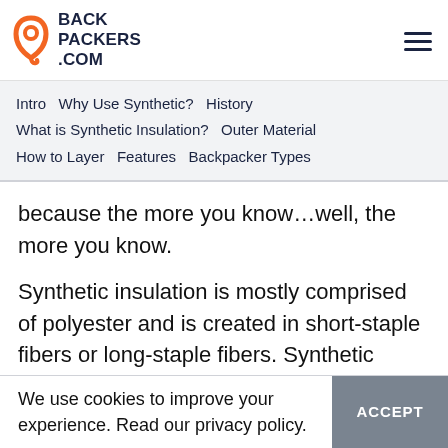BACKPACKERS.COM
Intro   Why Use Synthetic?   History
What is Synthetic Insulation?   Outer Material
How to Layer   Features   Backpacker Types
because the more you know…well, the more you know.
Synthetic insulation is mostly comprised of polyester and is created in short-staple fibers or long-staple fibers. Synthetic insulated jackets typically use short-staple fibers
We use cookies to improve your experience. Read our privacy policy.